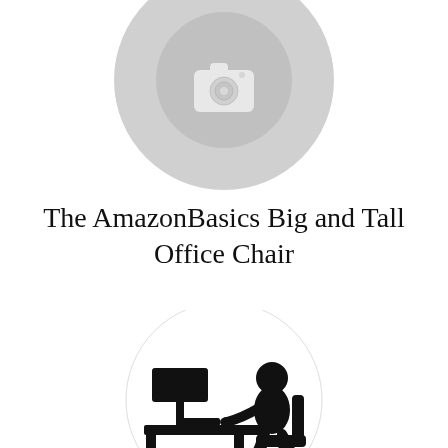[Figure (illustration): Gray circular photo placeholder icon with a camera icon in the center]
The AmazonBasics Big and Tall Office Chair
[Figure (illustration): Black and white circular illustration of a person sitting at a desk using a computer, shown in silhouette]